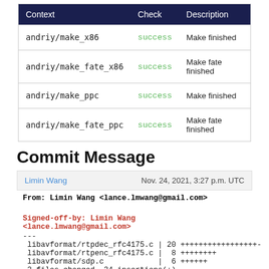| Context | Check | Description |
| --- | --- | --- |
| andriy/make_x86 | success | Make finished |
| andriy/make_fate_x86 | success | Make fate finished |
| andriy/make_ppc | success | Make finished |
| andriy/make_fate_ppc | success | Make fate finished |
Commit Message
Limin Wang    Nov. 24, 2021, 3:27 p.m. UTC
From:  Limin Wang <lance.lmwang@gmail.com>

Signed-off-by: Limin Wang <lance.lmwang@gmail.com>
---
 libavformat/rtpdec_rfc4175.c | 20 +++++++++++++++++-
 libavformat/rtpenc_rfc4175.c |  8 ++++++++
 libavformat/sdp.c            |  6 ++++++
 3 files changed, 34 insertions(+)